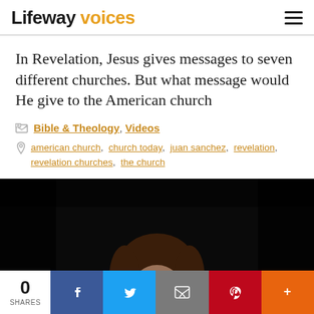Lifeway voices
In Revelation, Jesus gives messages to seven different churches. But what message would He give to the American church
Bible & Theology, Videos
american church, church today, juan sanchez, revelation, revelation churches, the church
[Figure (photo): Dark background photo of a woman speaker, partial view, from shoulders up]
0 SHARES — share bar with Facebook, Twitter, Email, Pinterest, More buttons